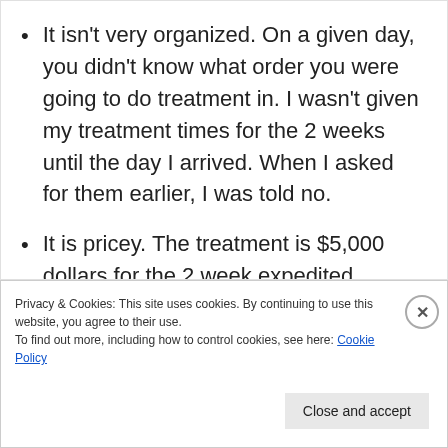It isn't very organized. On a given day, you didn't know what order you were going to do treatment in. I wasn't given my treatment times for the 2 weeks until the day I arrived. When I asked for them earlier, I was told no.
It is pricey. The treatment is $5,000 dollars for the 2 week expedited program and $2,000 for the follow up week. This averages out to about $100.00 an hour which isn't too bad. It bothers me it shows I was billed somewhere between $500-$800 for
Privacy & Cookies: This site uses cookies. By continuing to use this website, you agree to their use.
To find out more, including how to control cookies, see here: Cookie Policy
Close and accept